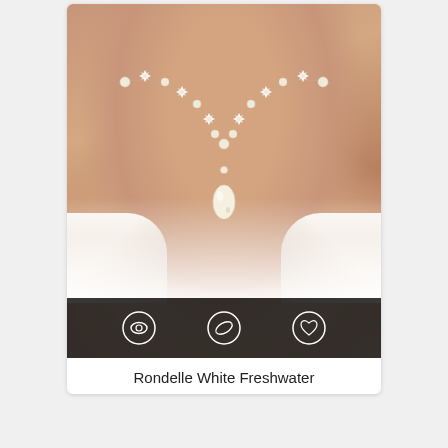[Figure (photo): Product photo of a pearl and crystal bridal necklace worn on a mannequin/model's neck and chest. The necklace features small crystal flower-shaped elements alternating with pearl beads along a curved chain, with a teardrop pearl pendant at the center bottom. A dark semi-transparent strip at the bottom of the image shows three icon buttons: an eye icon, a compass/view icon, and a heart/favorite icon.]
Rondelle White Freshwater